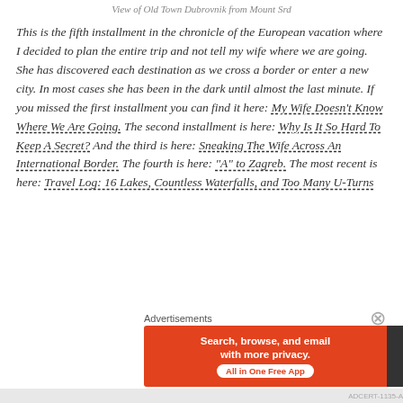View of Old Town Dubrovnik from Mount Srd
This is the fifth installment in the chronicle of the European vacation where I decided to plan the entire trip and not tell my wife where we are going.  She has discovered each destination as we cross a border or enter a new city.  In most cases she has been in the dark until almost the last minute. If you missed the first installment you can find it here:  My Wife Doesn't Know Where We Are Going.  The second installment is here:  Why Is It So Hard To Keep A Secret? And the third is here:  Sneaking The Wife Across An International Border.  The fourth is here:  "A" to Zagreb. The most recent is here:  Travel Log: 16 Lakes, Countless Waterfalls, and Too Many U-Turns
[Figure (screenshot): DuckDuckGo advertisement banner with text 'Search, browse, and email with more privacy. All in One Free App' on orange background with DuckDuckGo logo on dark background]